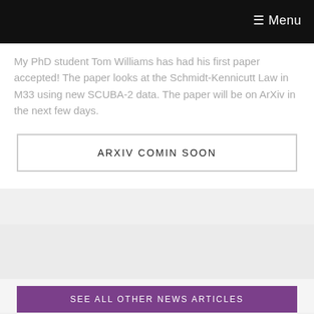☰ Menu
My PhD student Tom Williams has had his first paper accepted! The paper looks at the Schmidt-Kennicutt Law in M33 using new SCUBA-2 data. The paper will be on ArXiv in the next few days.
ARXIV COMIN SOON
SEE ALL OTHER NEWS ARTICLES